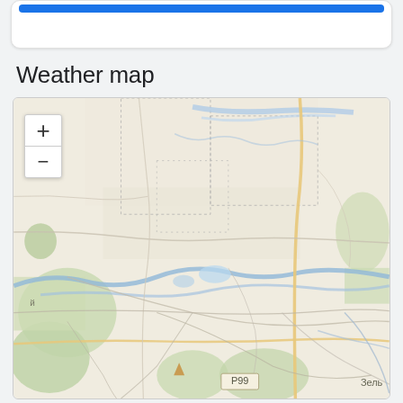[Figure (map): Top white card UI element with blue bar at top]
Weather map
[Figure (map): OpenStreetMap-style map showing a rural/suburban region with roads, rivers, green areas. Road labels visible: P50, P99. Cyrillic text: й, Зель. Zoom controls (+/-) in upper left of map.]